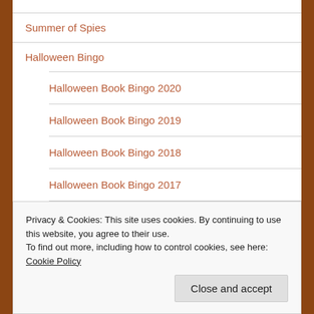Summer of Spies
Halloween Bingo
Halloween Book Bingo 2020
Halloween Book Bingo 2019
Halloween Book Bingo 2018
Halloween Book Bingo 2017
Privacy & Cookies: This site uses cookies. By continuing to use this website, you agree to their use.
To find out more, including how to control cookies, see here: Cookie Policy
Close and accept